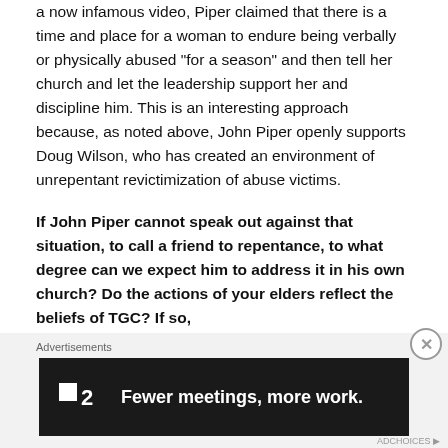a now infamous video, Piper claimed that there is a time and place for a woman to endure being verbally or physically abused “for a season” and then tell her church and let the leadership support her and discipline him. This is an interesting approach because, as noted above, John Piper openly supports Doug Wilson, who has created an environment of unrepentant revictimization of abuse victims.
If John Piper cannot speak out against that situation, to call a friend to repentance, to what degree can we expect him to address it in his own church? Do the actions of your elders reflect the beliefs of TGC? If so,
[Figure (other): Advertisement banner with dark background showing the Fewer meetings, more work. ad with a logo resembling F2]